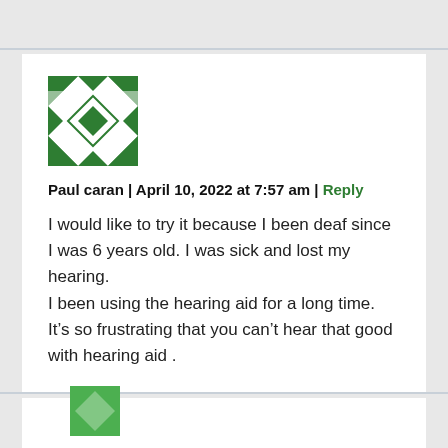[Figure (illustration): Green geometric/quilt-pattern avatar icon for user Paul caran]
Paul caran | April 10, 2022 at 7:57 am | Reply
I would like to try it because I been deaf since I was 6 years old. I was sick and lost my hearing.
I been using the hearing aid for a long time.
It's so frustrating that you can't hear that good with hearing aid .